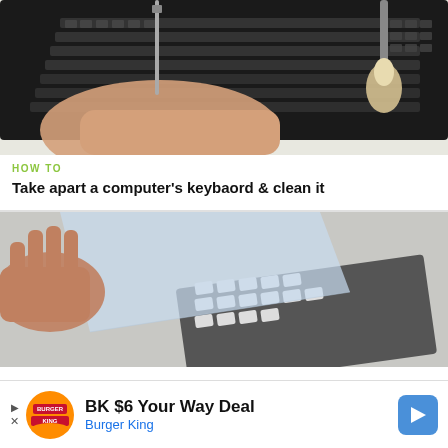[Figure (photo): Photo of a person cleaning a computer keyboard with a brush and a tool]
HOW TO
Take apart a computer's keybaord & clean it
[Figure (photo): Photo of hands disassembling a keyboard, pulling apart a transparent membrane]
BK $6 Your Way Deal Burger King